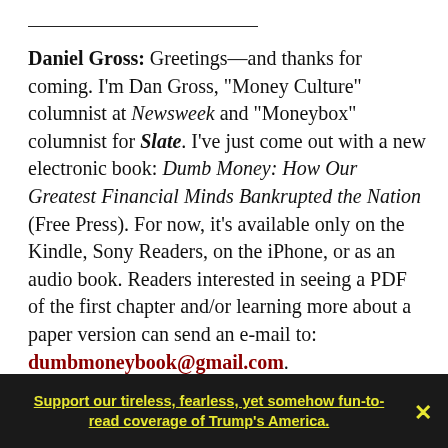Daniel Gross: Greetings—and thanks for coming. I'm Dan Gross, "Money Culture" columnist at Newsweek and "Moneybox" columnist for Slate. I've just come out with a new electronic book: Dumb Money: How Our Greatest Financial Minds Bankrupted the Nation (Free Press). For now, it's available only on the Kindle, Sony Readers, on the iPhone, or as an audio book. Readers interested in seeing a PDF of the first chapter and/or learning more about a paper version can send an e-mail to: dumbmoneybook@gmail.com.
Support our tireless, fearless, yet somehow fun-to-read coverage of Trump's America.